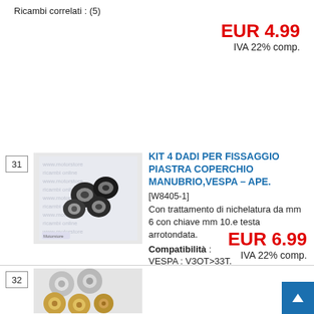Ricambi correlati : (5)
EUR 4.99
IVA 22% comp.
31
[Figure (photo): Photograph of 4 nuts/fasteners with nickel treatment on a white background with watermark text]
KIT 4 DADI PER FISSAGGIO PIASTRA COPERCHIO MANUBRIO,VESPA – APE.
[W8405-1]
Con trattamento di nichelatura da mm 6 con chiave mm 10.e testa arrotondata.
Compatibilità :
VESPA : V3OT>33T.
Ricambi correlati : (6)
EUR 6.99
IVA 22% comp.
32
[Figure (photo): Photograph of washers/rings partially visible at bottom of page]